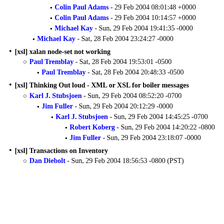Colin Paul Adams - 29 Feb 2004 08:01:48 +0000
Colin Paul Adams - 29 Feb 2004 10:14:57 +0000
Michael Kay - Sun, 29 Feb 2004 19:41:35 -0000
Michael Kay - Sat, 28 Feb 2004 23:24:27 -0000
[xsl] xalan node-set not working
Paul Tremblay - Sat, 28 Feb 2004 19:53:01 -0500
Paul Tremblay - Sat, 28 Feb 2004 20:48:33 -0500
[xsl] Thinking Out loud - XML or XSL for boiler messages
Karl J. Stubsjoen - Sun, 29 Feb 2004 08:52:20 -0700
Jim Fuller - Sun, 29 Feb 2004 20:12:29 -0000
Karl J. Stubsjoen - Sun, 29 Feb 2004 14:45:25 -0700
Robert Koberg - Sun, 29 Feb 2004 14:20:22 -0800
Jim Fuller - Sun, 29 Feb 2004 23:18:07 -0000
[xsl] Transactions on Inventory
Dan Diebolt - Sun, 29 Feb 2004 18:56:53 -0800 (PST)